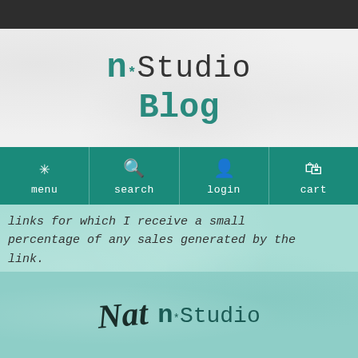n*Studio Blog
[Figure (screenshot): Navigation bar with menu, search, login, cart icons on teal background]
links for which I receive a small percentage of any sales generated by the link.
[Figure (logo): Nat n*Studio footer logo]